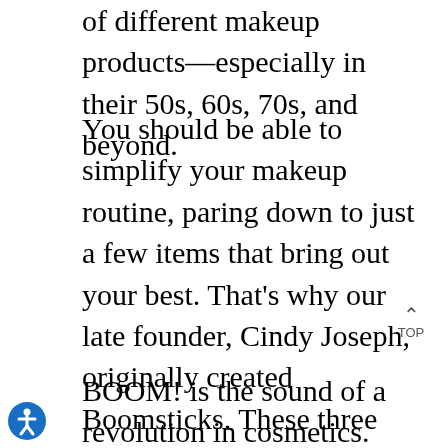of different makeup products—especially in their 50s, 60s, 70s, and beyond.
You should be able to simplify your makeup routine, paring down to just a few items that bring out your best. That's why our late founder, Cindy Joseph, originally created Boomsticks. These three compact, creamy cosmetic sticks were designed to simplify, replacing many of those products in your makeup bag.
BOOM! is the sound of a revolution in cosmetics. While other skincare and makeup companies carry “anti-aging” products,